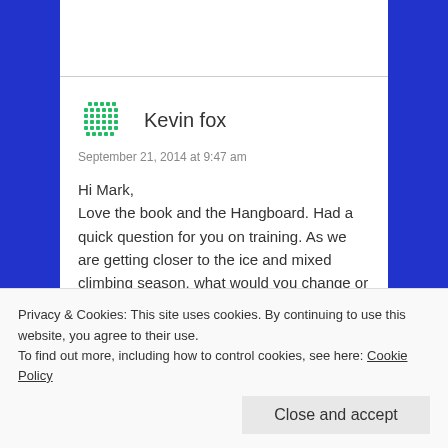Kevin fox
September 21, 2014 at 9:47 am
Hi Mark,
Love the book and the Hangboard. Had a quick question for you on training. As we are getting closer to the ice and mixed climbing season, what would you change or keep the same in the training that you have created in your book?
Thank you.
Kevin
Privacy & Cookies: This site uses cookies. By continuing to use this website, you agree to their use.
To find out more, including how to control cookies, see here: Cookie Policy
Close and accept